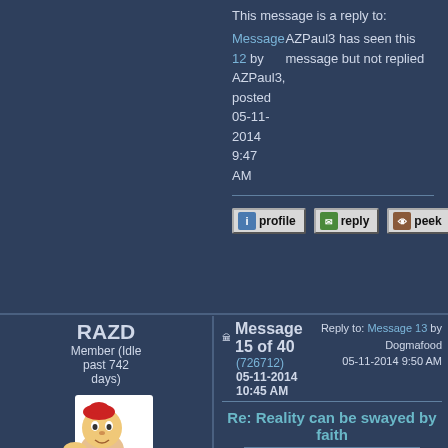This message is a reply to: Message 12 by AZPaul3, posted 05-11-2014 9:47 AM
AZPaul3 has seen this message but not replied
profile  reply  peek
RAZD
Member (Idle past 742 days)
Message 15 of 40 (726712) 05-11-2014 10:45 AM
Reply to: Message 13 by Dogmafood 05-11-2014 9:50 AM
Re: Reality can be swayed by faith
We both agree that there is always a reasonable explanation after the fact. I guess my point was that it is not always delusional to maintain beliefs in concepts that are at odds with reason.
At odds with logic, untested hypothesis, yes
At odds with theory, tested hypothesis, yes
At odds with facts, not so much.
Posts: 20714
From: the other end of the sidewalk
Joined: 03-14-2004